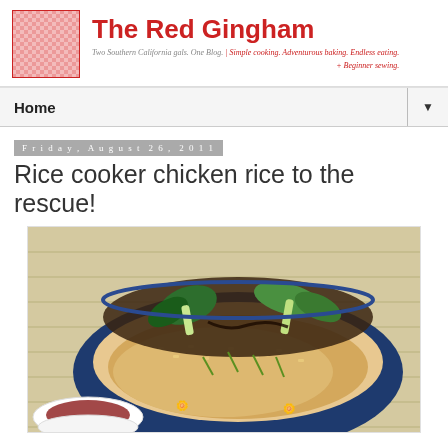[Figure (logo): Red gingham checkered square logo image for The Red Gingham blog]
The Red Gingham
Two Southern California gals. One Blog. | Simple cooking. Adventurous baking. Endless eating.
+ Beginner sewing.
Home
Friday, August 26, 2011
Rice cooker chicken rice to the rescue!
[Figure (photo): A blue ceramic bowl with yellow butterfly designs filled with chicken rice topped with green onions, with bok choy in dark broth on top, served on a bamboo mat with a small dish of sauce and garnishes visible at the bottom.]